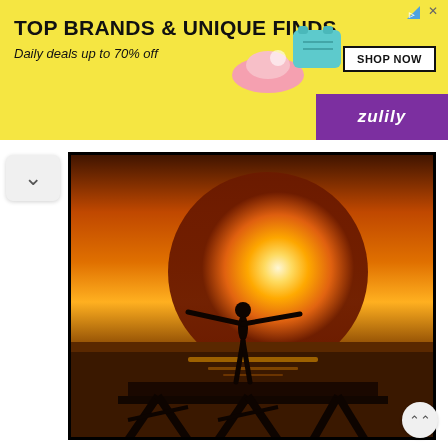[Figure (screenshot): Yellow advertisement banner for Zulily: 'TOP BRANDS & UNIQUE FINDS / Daily deals up to 70% off' with SHOP NOW button and purple Zulily branding strip, plus product images of shoes and a bag]
[Figure (photo): Silhouette of a person standing on a pier/dock with arms outstretched against a bright sunset over the ocean, sky in warm orange and golden tones]
For those who are battling in the initial stage, my earnest plea to you all: I know EXACTLY how you are feeling. But please do not belittle yourself. It is hard, it is VERY hard. But this will pass too. Don't let anyone make you feel bad about yourself. You don't deserve it. You deserve...